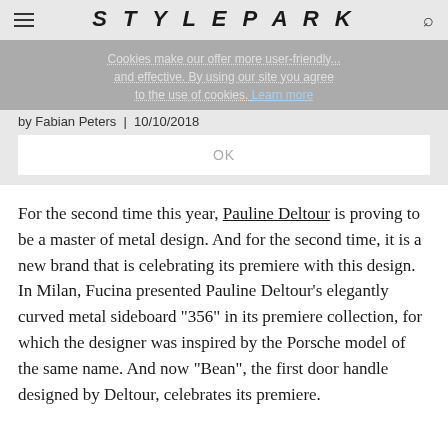STYLEPARK
Cookies make our offer more user-friendly... and effective. By using our site you agree to the use of cookies. Learn more
by Fabian Peters | 10/10/2018
OK
For the second time this year, Pauline Deltour is proving to be a master of metal design. And for the second time, it is a new brand that is celebrating its premiere with this design. In Milan, Fucina presented Pauline Deltour's elegantly curved metal sideboard "356" in its premiere collection, for which the designer was inspired by the Porsche model of the same name. And now "Bean", the first door handle designed by Deltour, celebrates its premiere.